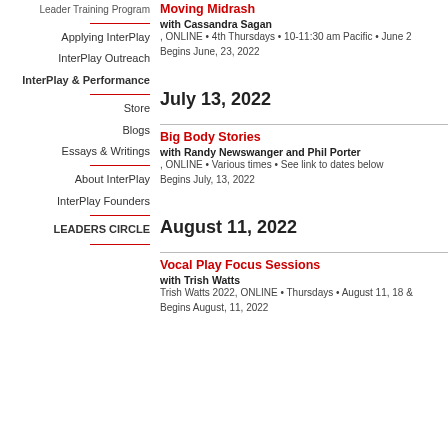Leader Training Program
Applying InterPlay
InterPlay Outreach
InterPlay & Performance
Store
Blogs
Essays & Writings
About InterPlay
InterPlay Founders
LEADERS CIRCLE
Moving Midrash
with Cassandra Sagan
, ONLINE • 4th Thursdays • 10-11:30 am Pacific • June 2
Begins June, 23, 2022
July 13, 2022
Big Body Stories
with Randy Newswanger and Phil Porter
, ONLINE • Various times • See link to dates below
Begins July, 13, 2022
August 11, 2022
Vocal Play Focus Sessions
with Trish Watts
Trish Watts 2022, ONLINE • Thursdays • August 11, 18 &
Begins August, 11, 2022